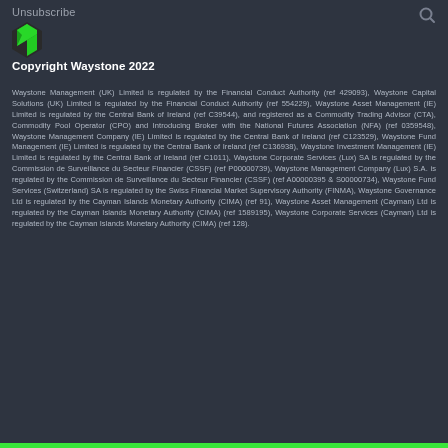Unsubscribe
[Figure (logo): Waystone green shield/gem logo]
Copyright Waystone 2022
Waystone Management (UK) Limited is regulated by the Financial Conduct Authority (ref 429093), Waystone Capital Solutions (UK) Limited is regulated by the Financial Conduct Authority (ref 554229), Waystone Asset Management (IE) Limited is regulated by the Central Bank of Ireland (ref C39544), and registered as a Commodity Trading Advisor (CTA), Commodity Pool Operator (CPO) and Introducing Broker with the National Futures Association (NFA) (ref 0359548), Waystone Management Company (IE) Limited is regulated by the Central Bank of Ireland (ref C123529), Waystone Fund Management (IE) Limited is regulated by the Central Bank of Ireland (ref C136938), Waystone Investment Management (IE) Limited is regulated by the Central Bank of Ireland (ref C1011), Waystone Corporate Services (Lux) SA is regulated by the Commission de Surveillance du Secteur Financier (CSSF) (ref P00000739), Waystone Management Company (Lux) S.A. is regulated by the Commission de Surveillance du Secteur Financier (CSSF) (ref A00000395 & S00000734), Waystone Fund Services (Switzerland) SA is regulated by the Swiss Financial Market Supervisory Authority (FINMA), Waystone Governance Ltd is regulated by the Cayman Islands Monetary Authority (CIMA) (ref 91), Waystone Asset Management (Cayman) Ltd is regulated by the Cayman Islands Monetary Authority (CIMA) (ref 1589195), Waystone Corporate Services (Cayman) Ltd is regulated by the Cayman Islands Monetary Authority (CIMA) (ref 128).